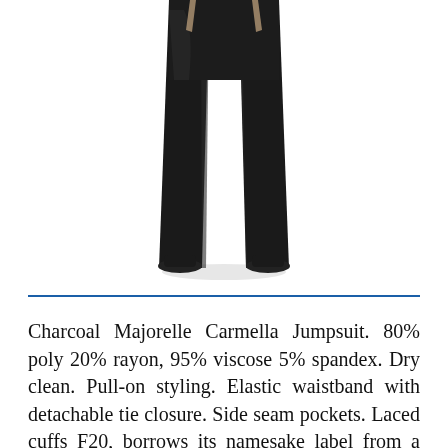[Figure (photo): Product photo of a person wearing wide-leg black jumpsuit with sandals, cropped at torso and below, shown against a white background.]
Charcoal Majorelle Carmella Jumpsuit. 80% poly 20% rayon, 95% viscose 5% spandex. Dry clean. Pull-on styling. Elastic waistband with detachable tie closure. Side seam pockets. Laced cuffs F20, borrows its namesake label from a garden that was a 40-year old labor of love. Former head